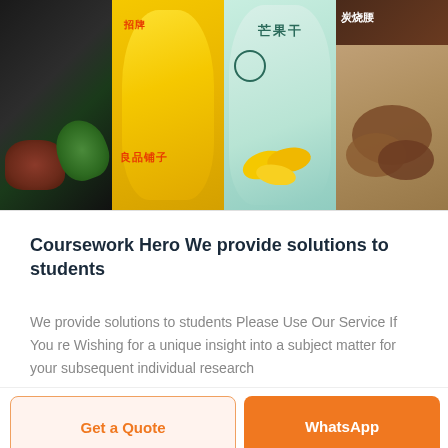[Figure (photo): Strip of four Chinese snack product packages: dark meat/greens package, yellow 良品铺子 package, light blue/green 芒果干 (dried mango) package, and brown 炭烧腰 package]
Coursework Hero We provide solutions to students
We provide solutions to students Please Use Our Service If You re Wishing for a unique insight into a subject matter for your subsequent individual research
Get a Quote
WhatsApp